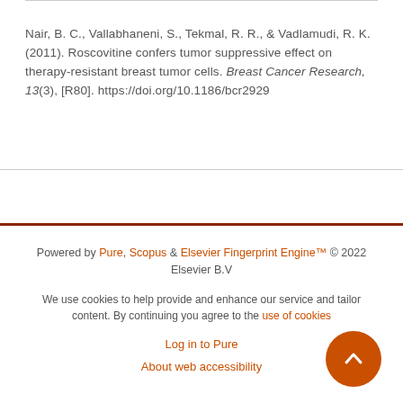Nair, B. C., Vallabhaneni, S., Tekmal, R. R., & Vadlamudi, R. K. (2011). Roscovitine confers tumor suppressive effect on therapy-resistant breast tumor cells. Breast Cancer Research, 13(3), [R80]. https://doi.org/10.1186/bcr2929
Powered by Pure, Scopus & Elsevier Fingerprint Engine™ © 2022 Elsevier B.V
We use cookies to help provide and enhance our service and tailor content. By continuing you agree to the use of cookies
Log in to Pure
About web accessibility